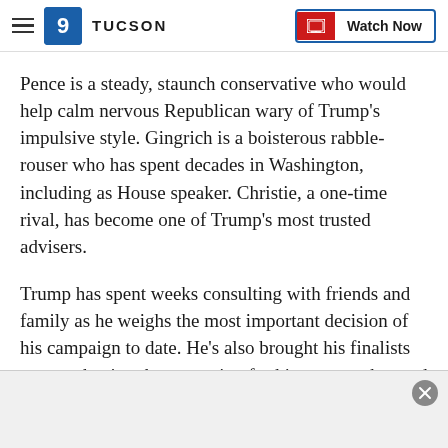TUCSON | Watch Now
Pence is a steady, staunch conservative who would help calm nervous Republican wary of Trump's impulsive style. Gingrich is a boisterous rabble-rouser who has spent decades in Washington, including as House speaker. Christie, a one-time rival, has become one of Trump's most trusted advisers.
Trump has spent weeks consulting with friends and family as he weighs the most important decision of his campaign to date. He's also brought his finalists on tour, having them opening for him at speeches and rallies to test their reactions before his crowd...